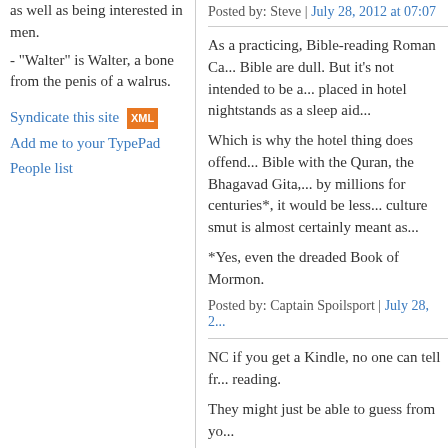as well as being interested in men.
- "Walter" is Walter, a bone from the penis of a walrus.
Syndicate this site [XML] Add me to your TypePad People list
Posted by: Steve | July 28, 2012 at 07:07
As a practicing, Bible-reading Roman Ca... Bible are dull. But it's not intended to be a... placed in hotel nightstands as a sleep aid...
Which is why the hotel thing does offend... Bible with the Quran, the Bhagavad Gita,... by millions for centuries*, it would be less... culture smut is almost certainly meant as...
*Yes, even the dreaded Book of Mormon.
Posted by: Captain Spoilsport | July 28, 2...
NC if you get a Kindle, no one can tell fr... reading.
They might just be able to guess from yo...
Posted by: RossM | July 28, 2012 at 11:2...